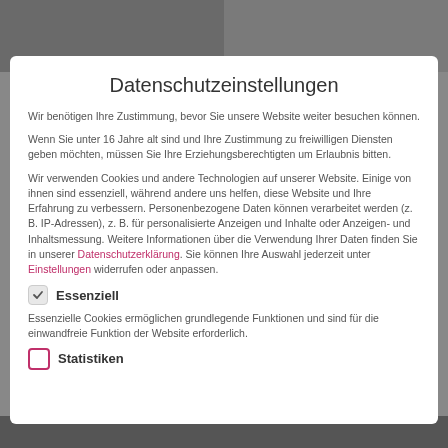[Figure (screenshot): Background images visible at top and bottom behind modal dialog]
Datenschutzeinstellungen
Wir benötigen Ihre Zustimmung, bevor Sie unsere Website weiter besuchen können.
Wenn Sie unter 16 Jahre alt sind und Ihre Zustimmung zu freiwilligen Diensten geben möchten, müssen Sie Ihre Erziehungsberechtigten um Erlaubnis bitten.
Wir verwenden Cookies und andere Technologien auf unserer Website. Einige von ihnen sind essenziell, während andere uns helfen, diese Website und Ihre Erfahrung zu verbessern. Personenbezogene Daten können verarbeitet werden (z. B. IP-Adressen), z. B. für personalisierte Anzeigen und Inhalte oder Anzeigen- und Inhaltsmessung. Weitere Informationen über die Verwendung Ihrer Daten finden Sie in unserer Datenschutzerklärung. Sie können Ihre Auswahl jederzeit unter Einstellungen widerrufen oder anpassen.
Essenziell
Essenzielle Cookies ermöglichen grundlegende Funktionen und sind für die einwandfreie Funktion der Website erforderlich.
Statistiken